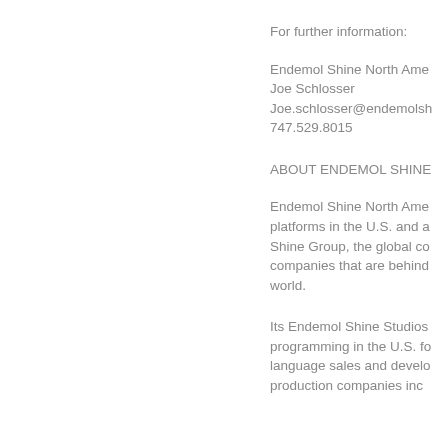For further information:
Endemol Shine North Ame
Joe Schlosser
Joe.schlosser@endemolsh
747.529.8015
ABOUT ENDEMOL SHINE
Endemol Shine North Ame platforms in the U.S. and a Shine Group, the global co companies that are behind world.
Its Endemol Shine Studios programming in the U.S. fo language sales and develo production companies inc